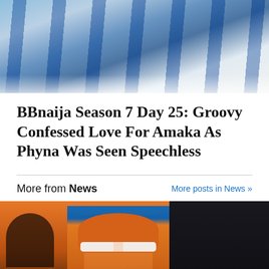[Figure (photo): Top portion of image showing people wearing blue and white striped clothing/scarves]
BBnaija Season 7 Day 25: Groovy Confessed Love For Amaka As Phyna Was Seen Speechless
More from News
More posts in News »
[Figure (photo): Three-panel collage image: left panel shows person in orange and black, center panel shows person in orange bucket hat with white sunglasses, right panel is dark/black]
BBNaija Season 7: Netizens drag Bella as she and Sheggz
3 hours ago